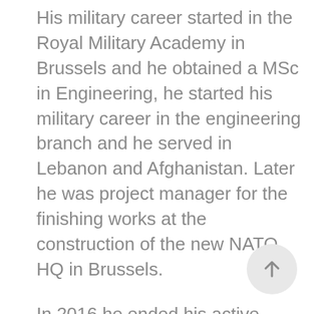His military career started in the Royal Military Academy in Brussels and he obtained a MSc in Engineering, he started his military career in the engineering branch and he served in Lebanon and Afghanistan. Later he was project manager for the finishing works at the construction of the new NATO HQ in Brussels.
In 2016 he ended his active military career and he became chief of humanist chaplains in 2019. In this function he focuses on moral dilemma and injury, inter-life stance dialogue, cultural diversity and identity, family support, spiritual-existential pastoral care, spiritual readiness and fitness, burn-out and suicide prevention, geopolitics of